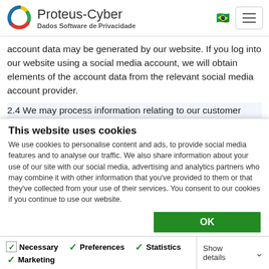Proteus-Cyber | Dados Software de Privacidade
account data may be generated by our website. If you log into our website using a social media account, we will obtain elements of the account data from the relevant social media account provider.
2.4 We may process information relating to our customer relationships ("customer relationship data"). The customer relationship data may include your name, the name of your
This website uses cookies
We use cookies to personalise content and ads, to provide social media features and to analyse our traffic. We also share information about your use of our site with our social media, advertising and analytics partners who may combine it with other information that you've provided to them or that they've collected from your use of their services. You consent to our cookies if you continue to use our website.
OK
Necessary | Preferences | Statistics | Marketing | Show details